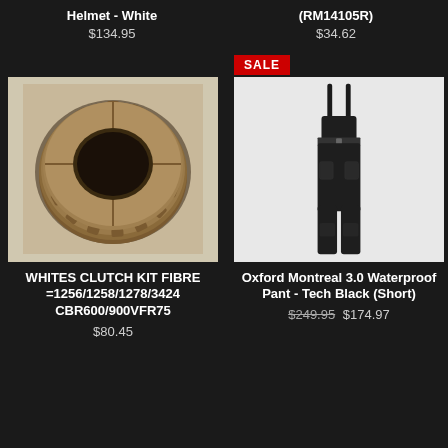Helmet - White
$134.95
(RM14105R)
$34.62
SALE
[Figure (photo): Clutch kit fibre rings arranged in a circular stack, brown/tan colored friction plates viewed from above]
[Figure (photo): Black bib overalls / waterproof pants displayed on a mannequin torso with suspenders, pockets visible]
WHITES CLUTCH KIT FIBRE =1256/1258/1278/3424 CBR600/900VFR75
$80.45
Oxford Montreal 3.0 Waterproof Pant - Tech Black (Short)
$249.95 $174.97